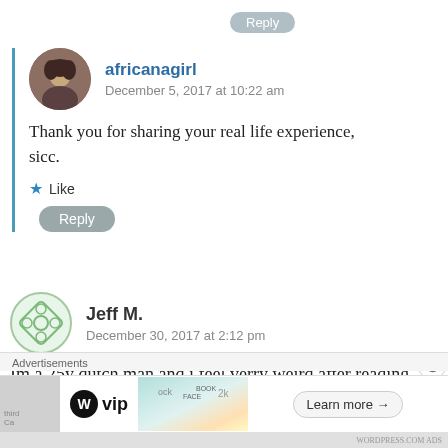Reply
africanagirl
December 5, 2017 at 10:22 am
Thank you for sharing your real life experience, sicc.
Like
Reply
Jeff M.
December 30, 2017 at 2:12 pm
Im a 25y dutch man and i feel verry weird after reading
Advertisements
[Figure (screenshot): Advertisement banner with WordPress VIP logo and Learn more button]